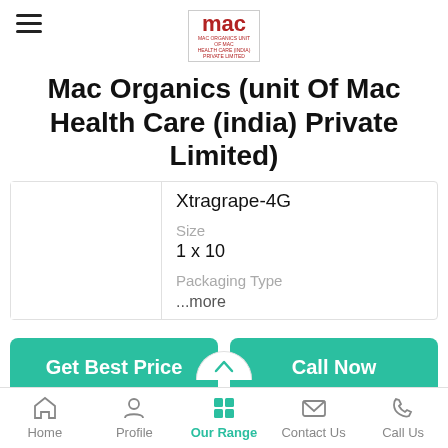[Figure (logo): Mac Organics logo in a bordered box, red text]
Mac Organics (unit Of Mac Health Care (india) Private Limited)
Xtragrape-4G
Size
1 x 10
Packaging Type
...more
Get Best Price
Call Now
Home | Profile | Our Range | Contact Us | Call Us